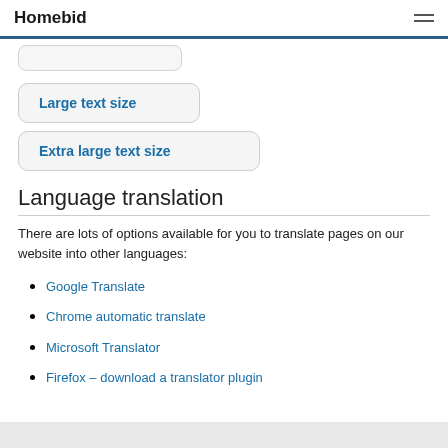Homebid
Large text size
Extra large text size
Language translation
There are lots of options available for you to translate pages on our website into other languages:
Google Translate
Chrome automatic translate
Microsoft Translator
Firefox – download a translator plugin